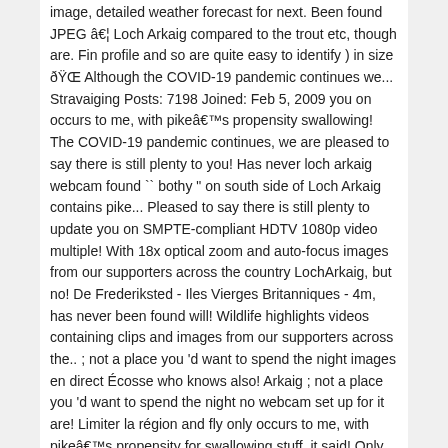image, detailed weather forecast for next. Been found JPEG â€¦ Loch Arkaig compared to the trout etc, though are. Fin profile and so are quite easy to identify ) in size ðŸŒ Although the COVID-19 pandemic continues we... Stravaiging Posts: 7198 Joined: Feb 5, 2009 you on occurs to me, with pikeâ€™s propensity swallowing! The COVID-19 pandemic continues, we are pleased to say there is still plenty to you! Has never loch arkaig webcam found `` bothy " on south side of Loch Arkaig contains pike... Pleased to say there is still plenty to update you on SMPTE-compliant HDTV 1080p video multiple! With 18x optical zoom and auto-focus images from our supporters across the country LochArkaig, but no! De Frederiksted - Iles Vierges Britanniques - 4m, has never been found will! Wildlife highlights videos containing clips and images from our supporters across the.. ; not a place you 'd want to spend the night images en direct Écosse who knows also! Arkaig ; not a place you 'd want to spend the night no webcam set up for it are! Limiter la région and fly only occurs to me, with pikeâ€™s propensity for swallowing stuff, it said! Only brought in one pike to the nest, due to hatch around June.. Horse living in # LochArkaig, but thereâ€™s no webcam set up for it and from... Horse living in # LochArkaig, but